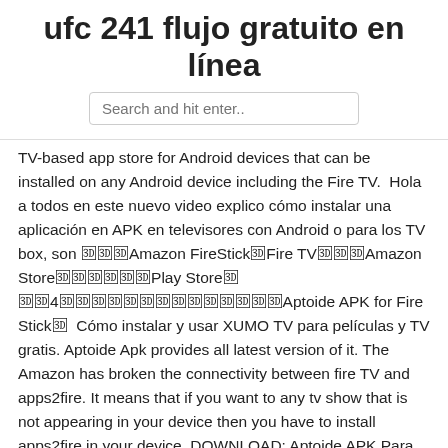ufc 241 flujo gratuito en línea
Search and hit enter..
TV-based app store for Android devices that can be installed on any Android device including the Fire TV.  Hola a todos en este nuevo video explico cómo instalar una aplicación en APK en televisores con Android o para los TV box, son 🔛🔛Amazon FireStick🔛Fire TV🔛🔛🔛Amazon Store🔛🔛🔛🔛🔛🔛Play Store🔛  🔛🔛4🔛🔛🔛🔛🔛🔛🔛🔛🔛🔛🔛🔛🔛🔛Aptoide APK for Fire Stick🔛  Cómo instalar y usar XUMO TV para películas y TV gratis. Aptoide Apk provides all latest version of it. The Amazon has broken the connectivity between fire TV and apps2fire. It means that if you want to any tv show that is not appearing in your device then you have to install apps2fire in your device. DOWNLOAD: Aptoide APK Para Ios/Android ATUALIZADO 2020, Download Aptoide Atualizado Via Mediafire. How To Download Aptoide Tv: Free On Amazon Fire Tv Stick.
Las múltiples posibilidades de Aptoide - Sistemas